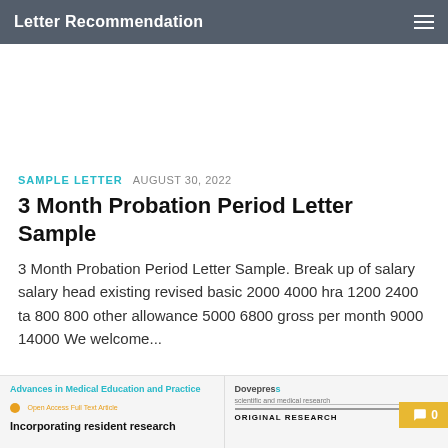Letter Recommendation
SAMPLE LETTER  AUGUST 30, 2022
3 Month Probation Period Letter Sample
3 Month Probation Period Letter Sample. Break up of salary salary head existing revised basic 2000 4000 hra 1200 2400 ta 800 800 other allowance 5000 6800 gross per month 9000 14000 We welcome...
[Figure (screenshot): Bottom strip showing two academic article previews: 'Advances in Medical Education and Practice' journal with 'Incorporating resident research...' heading on left, and 'Dovepress ORIGINAL RESEARCH' on right. A yellow chat bubble with '0' is visible on the right edge.]